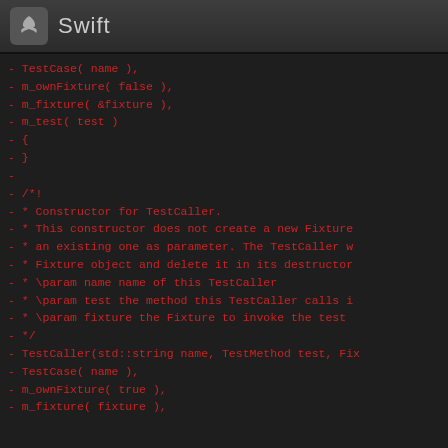Swift
Code diff showing TestCaller constructor implementations in C++
-                TestCase( name ),
-                m_ownFixture( false ),
-                m_fixture( &fixture ),
-                m_test( test )
-   {
-   }
-
-   /*!
-     * Constructor for TestCaller.
-     * This constructor does not create a new Fixture
-     * an existing one as parameter. The TestCaller w
-     * Fixture object and delete it in its destructor
-     * \param name name of this TestCaller
-     * \param test the method this TestCaller calls i
-     * \param fixture the Fixture to invoke the test
-     */
-   TestCaller(std::string name, TestMethod test, Fix
-                TestCase( name ),
-                m_ownFixture( true ),
-                m_fixture( fixture ),